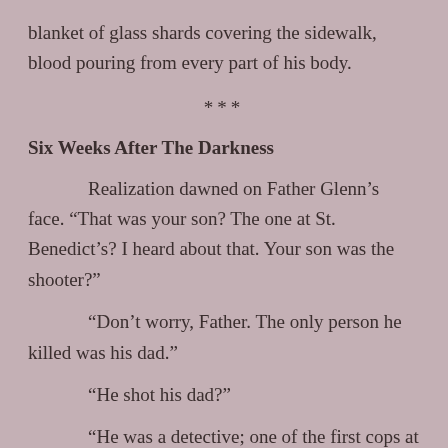blanket of glass shards covering the sidewalk, blood pouring from every part of his body.
***
Six Weeks After The Darkness
Realization dawned on Father Glenn’s face. “That was your son? The one at St. Benedict’s? I heard about that. Your son was the shooter?”
“Don’t worry, Father. The only person he killed was his dad.”
“He shot his dad?”
“He was a detective; one of the first cops at the scene. He